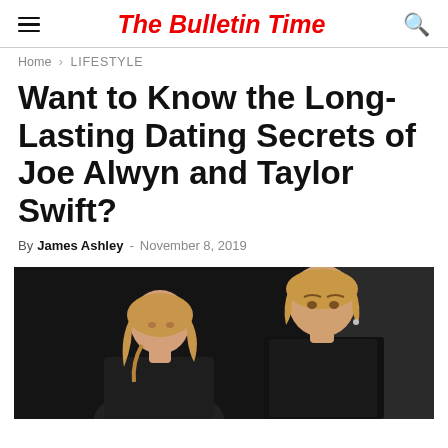The Bulletin Time
Home › LIFESTYLE
Want to Know the Long-Lasting Dating Secrets of Joe Alwyn and Taylor Swift?
By James Ashley - November 8, 2019
[Figure (photo): Photo of Taylor Swift and Joe Alwyn walking together at night, both with blonde/strawberry hair, against a dark background.]